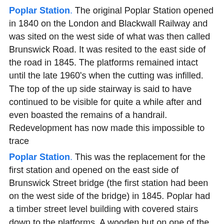Poplar Station. The original Poplar Station opened in 1840 on the London and Blackwall Railway and was sited on the west side of what was then called Brunswick Road. It was resited to the east side of the road in 1845. The platforms remained intact until the late 1960's when the cutting was infilled. The top of the up side stairway is said to have continued to be visible for quite a while after and even boasted the remains of a handrail.  Redevelopment has now made this impossible to trace
Poplar Station. This was the replacement for the first station and opened on the east side of Brunswick Street bridge (the first station had been on the west side of the bridge) in 1845. Poplar had a timber street level building with covered stairs down to the platforms. A wooden hut on one of the platforms was believed to be a stationmaster's office. Brick toilet blocks were sited at the east end of both platforms. After closure in the 1930s the platform buildings were demolished. But the lamp room and the gents' toilets survived until the late 1960's. The track through the station remained in use as a siding until